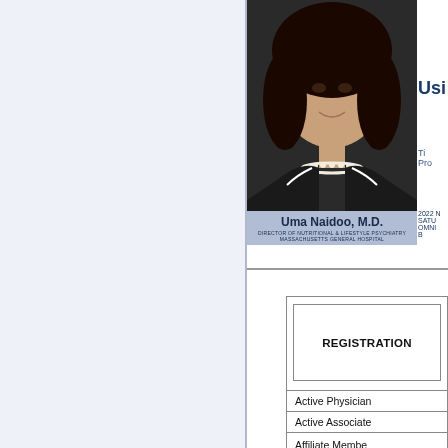[Figure (photo): Headshot photo of Uma Naidoo, M.D. — a woman with dark curly hair wearing a black outfit and pearl necklace, smiling. Name banner below reads 'Uma Naidoo, M.D. Director of Nutritional & Lifestyle Psychiatry, Massachusetts General Hospital']
Usi...
Ti... Pro...
2022 N... SATU... OMN... B...
REGISTRATION
Active Physician
Active Associate
Affiliate Member